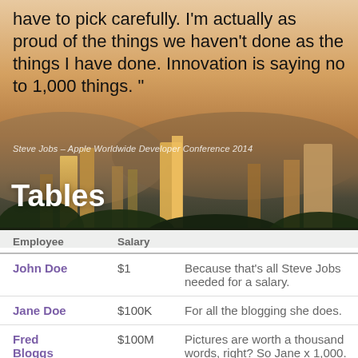have to pick carefully. I'm actually as proud of the things we haven't done as the things I have done. Innovation is saying no to 1,000 things. "
Steve Jobs – Apple Worldwide Developer Conference 2014
[Figure (photo): Aerial cityscape photo of Portland Oregon at golden hour, with downtown skyscrapers, forested hills, and warm sunset tones.]
Tables
| Employee | Salary |  |
| --- | --- | --- |
| John Doe | $1 | Because that's all Steve Jobs needed for a salary. |
| Jane Doe | $100K | For all the blogging she does. |
| Fred Bloggs | $100M | Pictures are worth a thousand words, right? So Jane x 1,000. |
| Jane | $100B | With hair like that?! Enough said. |